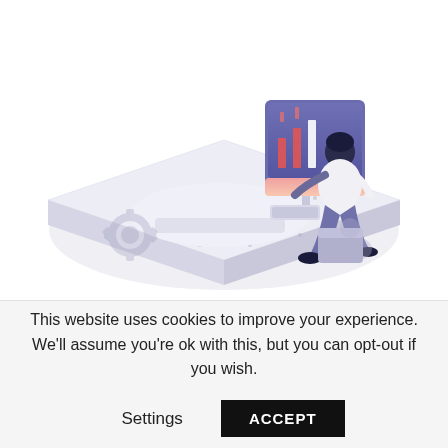[Figure (illustration): Isometric illustration of a person sitting at a desk working on a computer with a monitor showing bar charts. Decorative gear icon on bottom-left and a three-circle icon on bottom-right. Light purple/lavender color scheme.]
This website uses cookies to improve your experience. We'll assume you're ok with this, but you can opt-out if you wish.
Settings   ACCEPT